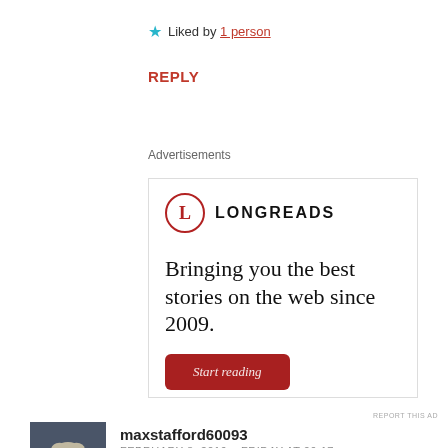★ Liked by 1 person
REPLY
Advertisements
[Figure (screenshot): Longreads advertisement showing logo with red circle L, brand name LONGREADS, tagline 'Bringing you the best stories on the web since 2009.' and a red 'Start reading' button]
REPORT THIS AD
maxstafford60093
FEBRUARY 8, 2019 - FRIDAY AT 09:17